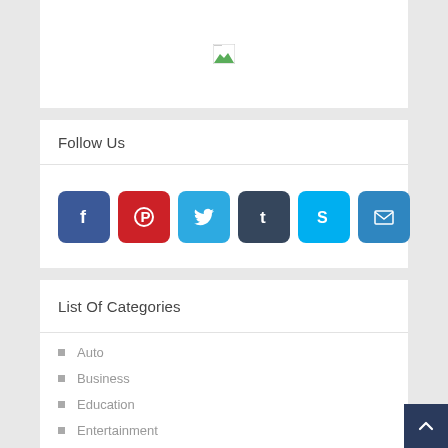[Figure (illustration): Broken image placeholder icon (small image with green landscape triangle)]
Follow Us
[Figure (infographic): Row of 6 social media icon buttons: Facebook (blue), Pinterest (red), Twitter (light blue), Tumblr (dark blue), Skype (cyan), Email (blue)]
List Of Categories
Auto
Business
Education
Entertainment